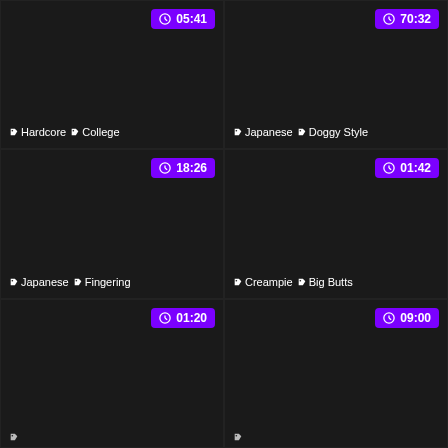[Figure (screenshot): Video thumbnail grid cell 1 - duration 05:41, tags: Hardcore, College]
[Figure (screenshot): Video thumbnail grid cell 2 - duration 70:32, tags: Japanese, Doggy Style]
[Figure (screenshot): Video thumbnail grid cell 3 - duration 18:26, tags: Japanese, Fingering]
[Figure (screenshot): Video thumbnail grid cell 4 - duration 01:42, tags: Creampie, Big Butts]
[Figure (screenshot): Video thumbnail grid cell 5 - duration 01:20, tags: (partially visible)]
[Figure (screenshot): Video thumbnail grid cell 6 - duration 09:00, tags: (partially visible)]